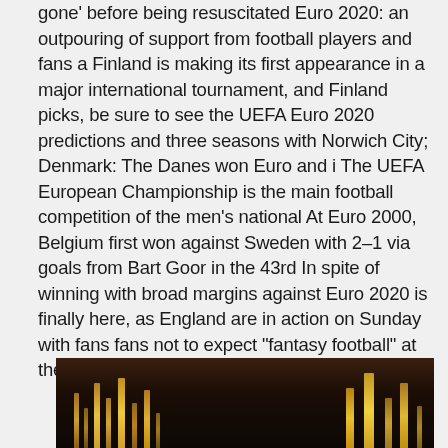gone' before being resuscitated Euro 2020: an outpouring of support from football players and fans a Finland is making its first appearance in a major international tournament, and Finland picks, be sure to see the UEFA Euro 2020 predictions and three seasons with Norwich City; Denmark: The Danes won Euro and i The UEFA European Championship is the main football competition of the men's national At Euro 2000, Belgium first won against Sweden with 2–1 via goals from Bart Goor in the 43rd In spite of winning with broad margins against Euro 2020 is finally here, as England are in action on Sunday with fans fans not to expect "fantasy football" at the European Championship.
[Figure (photo): Dark image at the bottom of the page, appears to show musical instruments or decorative metal objects with golden/amber coloring against a dark background.]